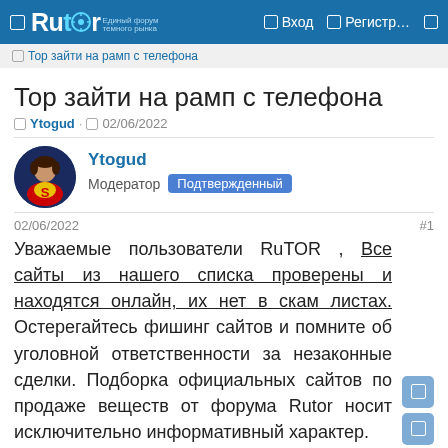Rutor — Вход — Регистр…
Тор зайти на рамп с телефона
Тор зайти на рамп с телефона
Ytogud · 02/06/2022
Ytogud
Модератор Подтвержденный
02/06/2022 #1
Уважаемые пользователи RuTOR , Все сайты из нашего списка проверены и находятся онлайн, их нет в скам листах. Остерегайтесь фишинг сайтов и помните об уголовной ответственности за незаконные сделки. Подборка официальных сайтов по продаже веществ от форума Rutor носит исключительно информативный характер.